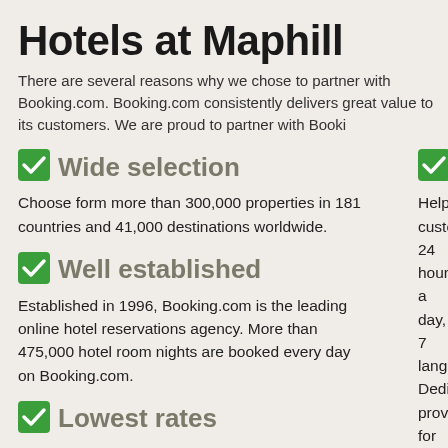Hotels at Maphill
There are several reasons why we chose to partner with Booking.com. Booking.com consistently delivers great value to its customers. We are proud to partner with Booking.com.
Wide selection
Choose form more than 300,000 properties in 181 countries and 41,000 destinations worldwide.
Customer
Helpful customer 24 hours a day, 7 languages. Dedicated provided for all cu
Well established
Established in 1996, Booking.com is the leading online hotel reservations agency. More than 475,000 hotel room nights are booked every day on Booking.com.
Secure b
The Booking.com secure and all cre information is enc
Lowest rates
Whether you're staying in a city, by the coast or in the countryside, Booking.com guarantees to offer you the best available
Multiling
Hotel information reviews are availa languages.